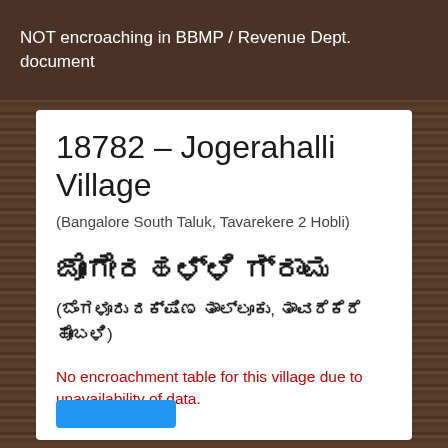NOT encroaching in BBMP / Revenue Dept. document
18782 – Jogerahalli Village
(Bangalore South Taluk, Tavarekere 2 Hobli)
ಜೋಗೇರಹಳ್ಳಿ ಗ್ರಾಮ
(ಬೆಂಗಳೂರು ದಕ್ಷಿಣ ತಾಲ್ಲೂಕು, ತಾವರೆಕೆರೆ ಹೋಬಳಿ)
No encroachment table for this village due to unavailability of data.